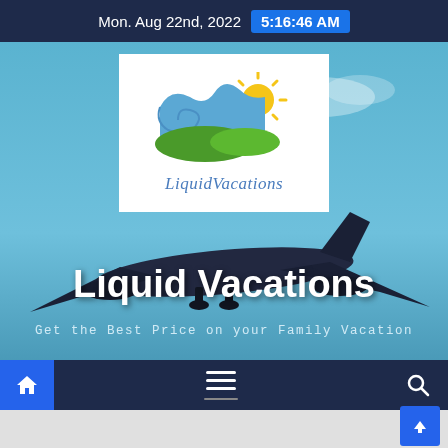Mon. Aug 22nd, 2022   5:16:46 AM
[Figure (logo): LiquidVacations logo with blue wave, green hill, yellow sun, and brand name in italic serif font]
Liquid Vacations
Get the Best Price on your Family Vacation
[Figure (screenshot): Website navigation bar with home icon button, hamburger menu icon, and search icon on dark navy background]
[Figure (screenshot): Light grey bottom section with blue scroll-to-top arrow button in bottom right corner]